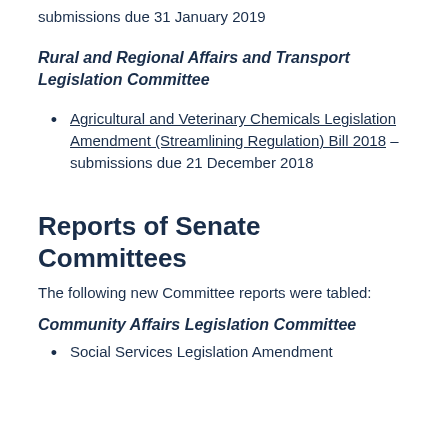submissions due 31 January 2019
Rural and Regional Affairs and Transport Legislation Committee
Agricultural and Veterinary Chemicals Legislation Amendment (Streamlining Regulation) Bill 2018 – submissions due 21 December 2018
Reports of Senate Committees
The following new Committee reports were tabled:
Community Affairs Legislation Committee
Social Services Legislation Amendment